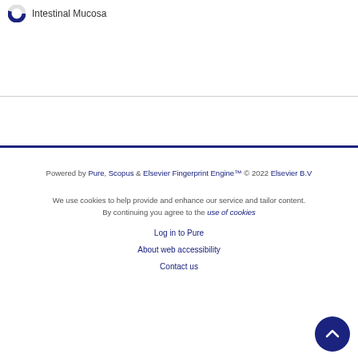[Figure (donut-chart): Partial donut chart legend item showing Intestinal Mucosa segment]
Powered by Pure, Scopus & Elsevier Fingerprint Engine™ © 2022 Elsevier B.V

We use cookies to help provide and enhance our service and tailor content. By continuing you agree to the use of cookies

Log in to Pure

About web accessibility

Contact us